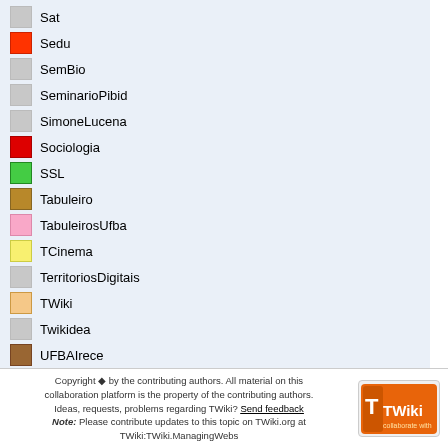Sat
Sedu
SemBio
SeminarioPibid
SimoneLucena
Sociologia
SSL
Tabuleiro
TabuleirosUfba
TCinema
TerritoriosDigitais
TWiki
Twikidea
UFBAIrece
UniversidadeNova
VizinhoEstrangeiro
XIISNHCT
Copyright by the contributing authors. All material on this collaboration platform is the property of the contributing authors. Ideas, requests, problems regarding TWiki? Send feedback Note: Please contribute updates to this topic on TWiki.org at TWiki:TWiki.ManagingWebs